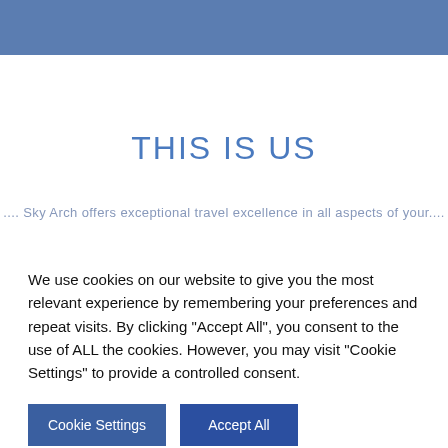THIS IS US
Sky Arch offers exceptional travel excellence in all aspects of your
We use cookies on our website to give you the most relevant experience by remembering your preferences and repeat visits. By clicking "Accept All", you consent to the use of ALL the cookies. However, you may visit "Cookie Settings" to provide a controlled consent.
Cookie Settings | Accept All